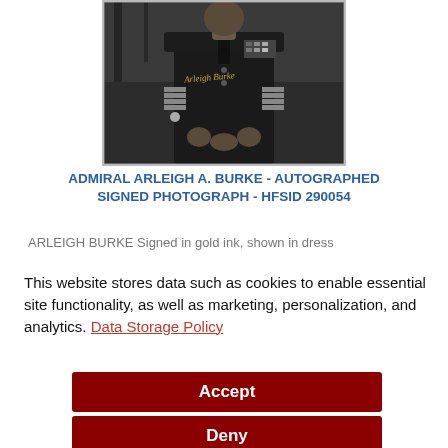[Figure (photo): Black and white autographed photograph of Admiral Arleigh A. Burke in dress uniform with signature in gold ink]
ADMIRAL ARLEIGH A. BURKE - AUTOGRAPHED SIGNED PHOTOGRAPH - HFSID 290054
ARLEIGH BURKE Signed in gold ink, shown in dress
This website stores data such as cookies to enable essential site functionality, as well as marketing, personalization, and analytics. Data Storage Policy
Accept
Deny